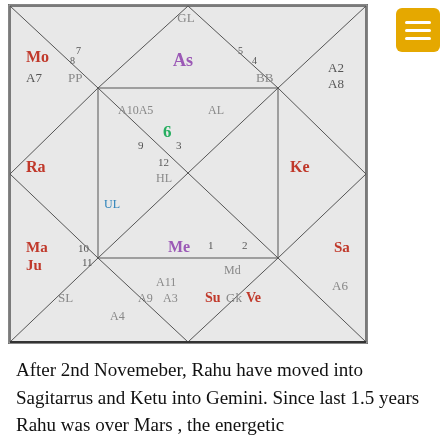[Figure (other): South Indian style Vedic astrology birth chart (kundali) showing planetary positions. Houses arranged in a grid with diagonal lines. Planets: Mo (Moon), As (Ascendant), Ra (Rahu), Ke (Ketu), Ma (Mars), Ju (Jupiter), Me (Mercury), Sa (Saturn), Su (Sun), Ve (Venus), Md, Gk, GL, HL, UL, SL, PP, BB, AL. House numbers 1-12 and Arabic points labeled.]
After 2nd Novemeber, Rahu have moved into Sagitarrus and Ketu into Gemini. Since last 1.5 years Rahu was over Mars , the energetic